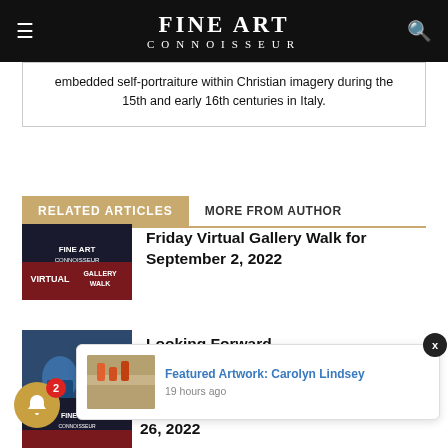FINE ART CONNOISSEUR
embedded self-portraiture within Christian imagery during the 15th and early 16th centuries in Italy.
RELATED ARTICLES   MORE FROM AUTHOR
Friday Virtual Gallery Walk for September 2, 2022
Looking Forward
Featured Artwork: Carolyn Lindsey
19 hours ago
Friday Virtual Gallery Walk for August 26, 2022